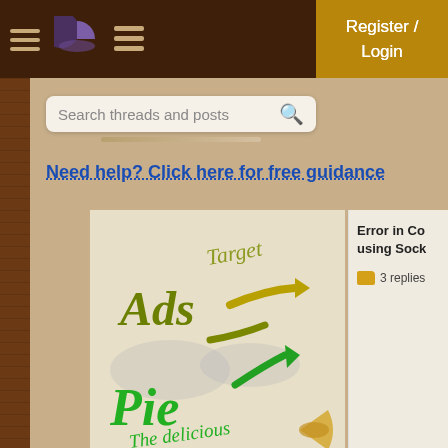Navigation bar with hamburger menu, pie icon, grid icon, and Register/Login button
Search threads and posts
Register / Login
Need help? Click here for free guidance
[Figure (illustration): Hand-drawn illustration showing 'Target' text, 'Ads' with yellow arrow, 'Pie' in green lettering with 'The delicious ones' text and a pie slice graphic, with a green arrow. Partially blurred background elements.]
Error in Co... using Sock...
3 replies